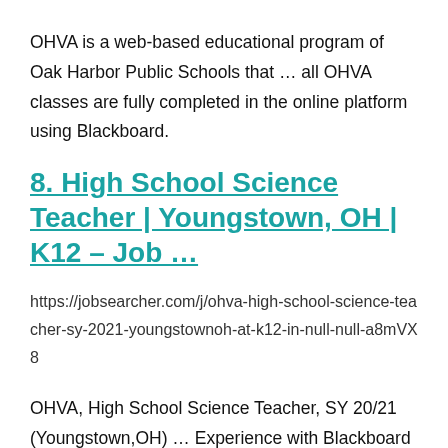OHVA is a web-based educational program of Oak Harbor Public Schools that … all OHVA classes are fully completed in the online platform using Blackboard.
8. High School Science Teacher | Youngstown, OH | K12 – Job …
https://jobsearcher.com/j/ohva-high-school-science-teacher-sy-2021-youngstownoh-at-k12-in-null-null-a8mVX8
OHVA, High School Science Teacher, SY 20/21 (Youngstown,OH) … Experience with Blackboard